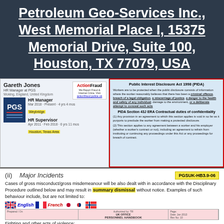Petroleum Geo-Services Inc., West Memorial Place I, 15375 Memorial Drive, Suite 100, Houston, TX 77079, USA
[Figure (screenshot): LinkedIn profile card for Gareth Jones, HR Manager at PGS, Woking England United Kingdom, with PGS logo, job history at Weybridge and Houston Texas Area, and ActionFraud logo overlay]
Public Interest Disclosure Act 1998 (PIDA)
Workers are to be protected when the public disclosure consists of information where the worker reasonably believes that there has been a criminal offence, breach of a legal obligation, a miscarriage of justice, a danger to the health and safety of any individual, damage to the environment, or a deliberate attempt to conceal such acts

PIDA Section 43J ERA Contractual duties of confidentiality
(1) Any provision in an agreement to which this section applies is void in so far as it purports to preclude the worker from making a protected disclosure.
(2) This section applies to any agreement between a worker and his employer (whether a worker's contract or not), including an agreement to refrain from instituting or continuing any proceedings under this Act or any proceedings for breach of contract.
(ii) Major Incidents
PGSUK-HB3.9-06
Cases of gross misconduct/gross misdemeanour will be also dealt with in accordance with the Disciplinary Procedure outlined below and may result in summary dismissal without notice. Examples of such behaviour include, but are not limited to:
Fighting and other acts of violence;
Conviction of any criminal offence other than a minor road traffic offence;